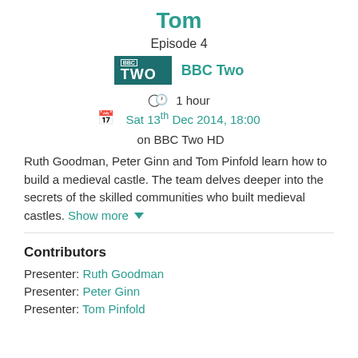Tom
Episode 4
[Figure (logo): BBC TWO logo block followed by 'BBC Two' channel name text]
1 hour
Sat 13th Dec 2014, 18:00 on BBC Two HD
Ruth Goodman, Peter Ginn and Tom Pinfold learn how to build a medieval castle. The team delves deeper into the secrets of the skilled communities who built medieval castles. Show more ▼
Contributors
Presenter: Ruth Goodman
Presenter: Peter Ginn
Presenter: Tom Pinfold